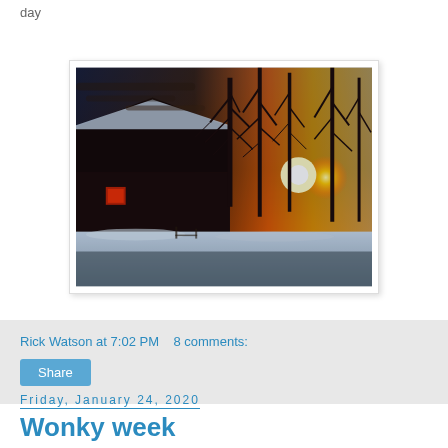day
[Figure (photo): Winter sunset photo showing a red barn covered in snow on the left with bare trees silhouetted against an orange and golden sunset sky on the right.]
Rick Watson at 7:02 PM   8 comments:
Share
Friday, January 24, 2020
Wonky week